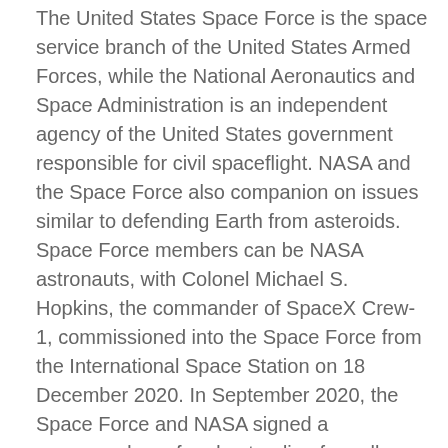The United States Space Force is the space service branch of the United States Armed Forces, while the National Aeronautics and Space Administration is an independent agency of the United States government responsible for civil spaceflight. NASA and the Space Force also companion on issues similar to defending Earth from asteroids. Space Force members can be NASA astronauts, with Colonel Michael S. Hopkins, the commander of SpaceX Crew-1, commissioned into the Space Force from the International Space Station on 18 December 2020. In September 2020, the Space Force and NASA signed a memorandum of understanding formally acknowledging the joint function of both agencies.
Earthway® Seeders & Plates
Unlike the life-giving warmth of the solar, this mild will deliver death. A long time ago, on this galaxy however far, far away… the sky is filled with bright stars and glowing nebulae, far denser than today's tame heavens. A nice curving wave of stars picks up the photo voltaic system like a scrap of